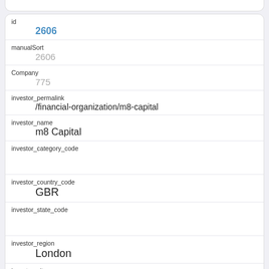| Field | Value |
| --- | --- |
| id | 2606 |
| manualSort | 2606 |
| Company | 775 |
| investor_permalink | /financial-organization/m8-capital |
| investor_name | m8 Capital |
| investor_category_code |  |
| investor_country_code | GBR |
| investor_state_code |  |
| investor_region | London |
| investor_city |  |